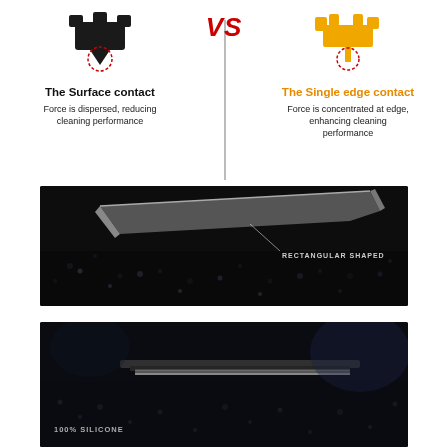[Figure (infographic): Comparison infographic showing two wiper blade cross-sections: left black rectangular one labeled 'The Surface contact' with dashed red circle highlight, right yellow single-edge one labeled 'The Single edge contact' with dashed red circle highlight, separated by VS text in red and a vertical gray divider line]
The Surface contact
Force is dispersed, reducing cleaning performance
The Single edge contact
Force is concentrated at edge, enhancing cleaning performance
[Figure (photo): Close-up macro photo of a wiper blade cross-section on a wet windshield surface with water droplets visible, showing rectangular shaped rubber blade profile. Label reads RECTANGULAR SHAPED.]
[Figure (photo): Close-up macro photo of a silicone wiper blade on a wet dark surface with water droplets. Label reads 100% SILICONE.]